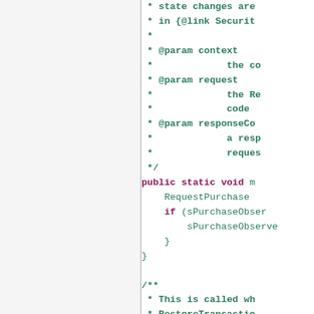[Figure (screenshot): Source code snippet showing Javadoc comments and Java method code. Left panel is gray/blank, right panel shows code with green comment text and dark pink/maroon keywords.]